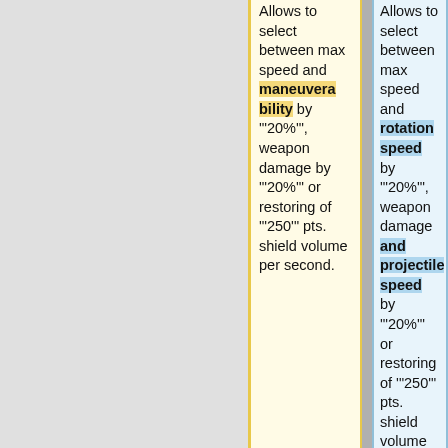Allows to select between max speed and maneuverability by '"20%"', weapon damage by '"20%"' or restoring of '"250"' pts. shield volume per second.
Allows to select between max speed and rotation speed by '"20%"', weapon damage and projectile speed by '"20%"' or restoring of '"250"' pts. shield volume per second and increase the shield resistance to all types of damage by '"15"' pts.